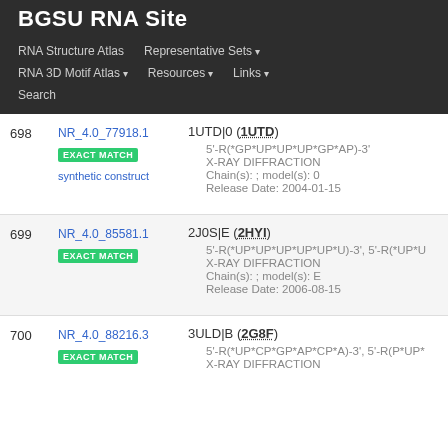BGSU RNA Site
RNA Structure Atlas | Representative Sets | RNA 3D Motif Atlas | Resources | Links | Search
| # | NR Set | Entry Details |
| --- | --- | --- |
| 698 | NR_4.0_77918.1 EXACT MATCH synthetic construct | 1UTD|0 (1UTD)
5'-R(*GP*UP*UP*UP*GP*AP)-3'
X-RAY DIFFRACTION
Chain(s): ; model(s): 0
Release Date: 2004-01-15 |
| 699 | NR_4.0_85581.1 EXACT MATCH | 2J0S|E (2HYI)
5'-R(*UP*UP*UP*UP*UP*U)-3', 5'-R(*UP*U...
X-RAY DIFFRACTION
Chain(s): ; model(s): E
Release Date: 2006-08-15 |
| 700 | NR_4.0_88216.3 EXACT MATCH | 3ULD|B (2G8F)
5'-R(*UP*CP*GP*AP*CP*A)-3', 5'-R(P*UP*...
X-RAY DIFFRACTION |